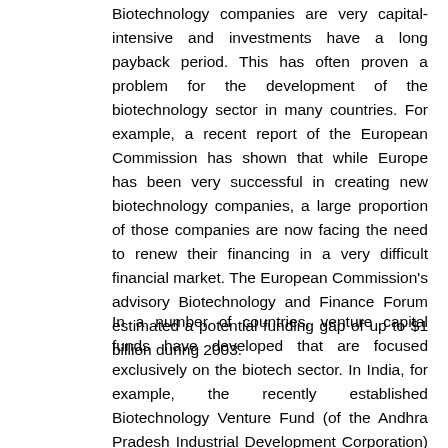Biotechnology companies are very capital-intensive and investments have a long payback period. This has often proven a problem for the development of the biotechnology sector in many countries. For example, a recent report of the European Commission has shown that while Europe has been very successful in creating new biotechnology companies, a large proportion of those companies are now facing the need to renew their financing in a very difficult financial market. The European Commission's advisory Biotechnology and Finance Forum estimated a potential funding gap of up to $1 billion during 2003.
In a number of countries, venture capital funds have developed that are focused exclusively on the biotech sector. In India, for example, the recently established Biotechnology Venture Fund (of the Andhra Pradesh Industrial Development Corporation) is the first such venture fund in the country and, with resources equivalent to US$ 37 million, is designed to meet part of the funding gap. According to its managing director, the key issues that are important for investing in a biotech start-up are the presence of a strong and capable